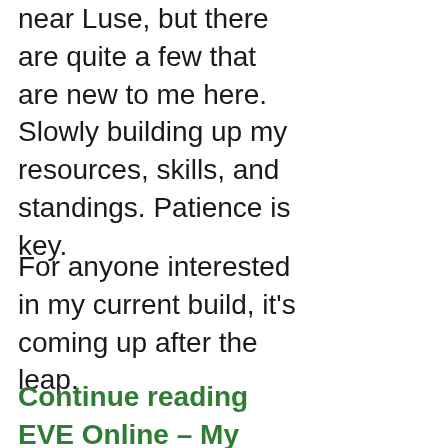near Luse, but there are quite a few that are new to me here. Slowly building up my resources, skills, and standings. Patience is key.
For anyone interested in my current build, it's coming up after the leap.
Continue reading EVE Online – My journeys so far.